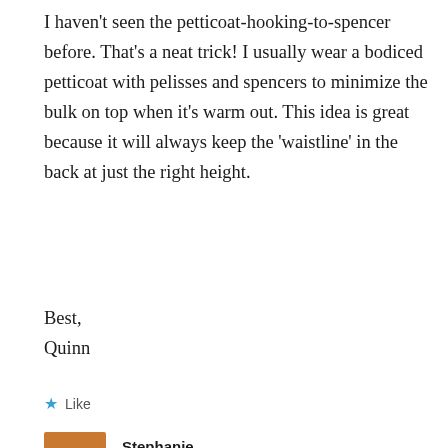I haven't seen the petticoat-hooking-to-spencer before. That's a neat trick! I usually wear a bodiced petticoat with pelisses and spencers to minimize the bulk on top when it's warm out. This idea is great because it will always keep the 'waistline' in the back at just the right height.
Best,
Quinn
Like
Stephanie
January 2, 2019   Reply